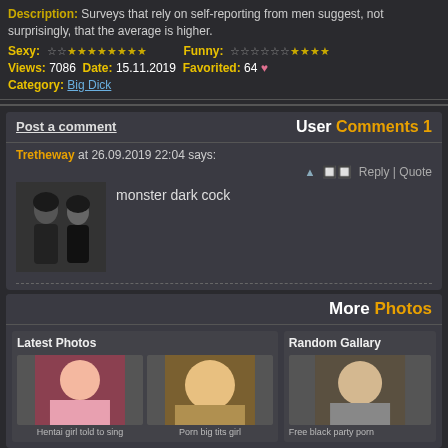Description: Surveys that rely on self-reporting from men suggest, not surprisingly, that the average is higher.
Sexy: ☆☆★★★★★★★★  Funny: ☆☆☆☆☆☆★★★★
Views: 7086  Date: 15.11.2019  Favorited: 64 ♥
Category: Big Dick
User Comments 1
Tretheway at 26.09.2019 22:04 says:
monster dark cock
More Photos
Latest Photos
Hentai girl told to sing
Porn big tits girl
Random Gallary
Free black party porn